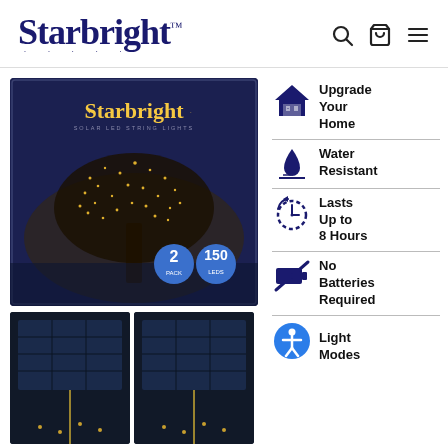Starbright™
[Figure (photo): Starbright Solar LED String Lights product box showing a tree decorated with fairy lights at night, with two blue circular badges showing '2' and '150']
[Figure (photo): Two solar panel units with string lights below them]
Upgrade Your Home
Water Resistant
Lasts Up to 8 Hours
No Batteries Required
Light Modes